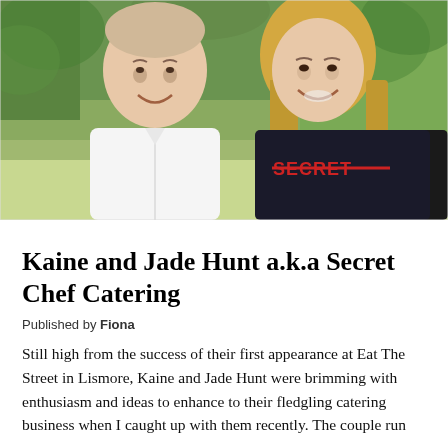[Figure (photo): Selfie photo of two people smiling outdoors. A man on the left wearing a white chef's jacket, and a woman on the right wearing a black t-shirt with 'SECRET' written in red letters. Green trees and grass visible in the background.]
Kaine and Jade Hunt a.k.a Secret Chef Catering
Published by Fiona
Still high from the success of their first appearance at Eat The Street in Lismore, Kaine and Jade Hunt were brimming with enthusiasm and ideas to enhance to their fledgling catering business when I caught up with them recently. The couple run